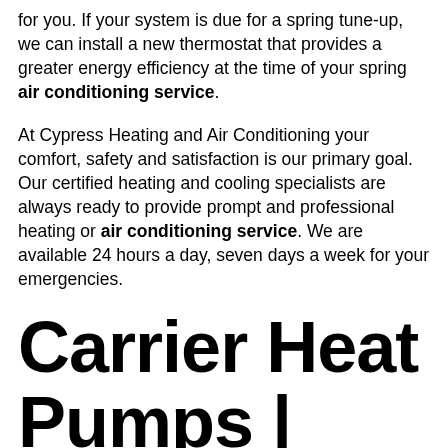for you. If your system is due for a spring tune-up, we can install a new thermostat that provides a greater energy efficiency at the time of your spring air conditioning service.
At Cypress Heating and Air Conditioning your comfort, safety and satisfaction is our primary goal. Our certified heating and cooling specialists are always ready to provide prompt and professional heating or air conditioning service. We are available 24 hours a day, seven days a week for your emergencies.
Carrier Heat Pumps | Heating and